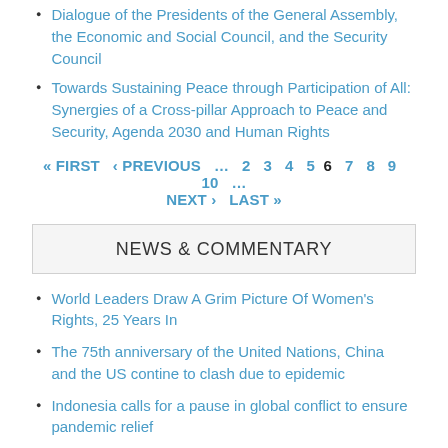Dialogue of the Presidents of the General Assembly, the Economic and Social Council, and the Security Council
Towards Sustaining Peace through Participation of All: Synergies of a Cross-pillar Approach to Peace and Security, Agenda 2030 and Human Rights
« FIRST ‹ PREVIOUS … 2 3 4 5 6 7 8 9 10 … NEXT › LAST »
NEWS & COMMENTARY
World Leaders Draw A Grim Picture Of Women's Rights, 25 Years In
The 75th anniversary of the United Nations, China and the US contine to clash due to epidemic
Indonesia calls for a pause in global conflict to ensure pandemic relief